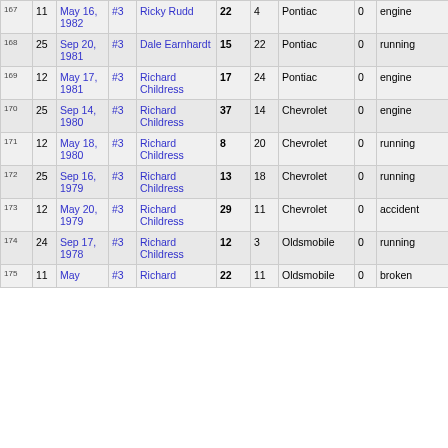| # | Pos | Date | Car | Driver | Start | Finish | Make | Laps | Status |
| --- | --- | --- | --- | --- | --- | --- | --- | --- | --- |
| 167 | 11 | May 16, 1982 | #3 | Ricky Rudd | 22 | 4 | Pontiac | 0 | engine |
| 168 | 25 | Sep 20, 1981 | #3 | Dale Earnhardt | 15 | 22 | Pontiac | 0 | running |
| 169 | 12 | May 17, 1981 | #3 | Richard Childress | 17 | 24 | Pontiac | 0 | engine |
| 170 | 25 | Sep 14, 1980 | #3 | Richard Childress | 37 | 14 | Chevrolet | 0 | engine |
| 171 | 12 | May 18, 1980 | #3 | Richard Childress | 8 | 20 | Chevrolet | 0 | running |
| 172 | 25 | Sep 16, 1979 | #3 | Richard Childress | 13 | 18 | Chevrolet | 0 | running |
| 173 | 12 | May 20, 1979 | #3 | Richard Childress | 29 | 11 | Chevrolet | 0 | accident |
| 174 | 24 | Sep 17, 1978 | #3 | Richard Childress | 12 | 3 | Oldsmobile | 0 | running |
| 175 | 11 | May ... | #3 | Richard ... | 22 | 11 | Oldsmobile | 0 | broken |